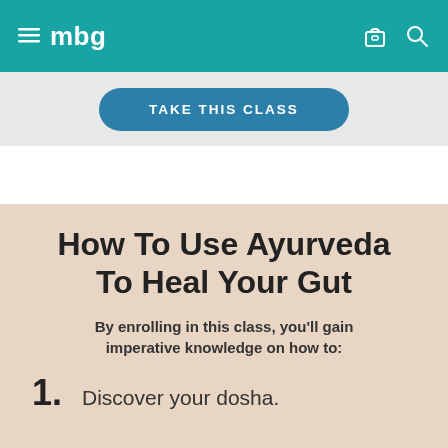≡ mbg
TAKE THIS CLASS
How To Use Ayurveda To Heal Your Gut
By enrolling in this class, you'll gain imperative knowledge on how to:
1. Discover your dosha.